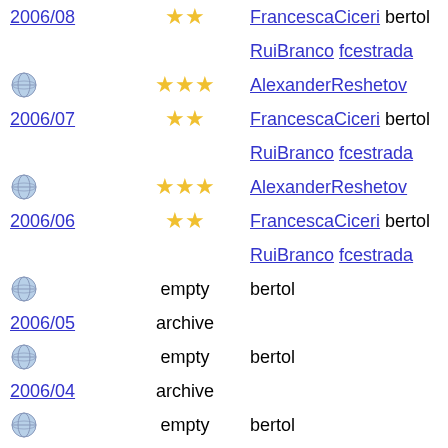2006/08 ★★ FrancescaCiceri bertol
RuiBranco fcestrada
globe ★★★ AlexanderReshetov
2006/07 ★★ FrancescaCiceri bertol
RuiBranco fcestrada
globe ★★★ AlexanderReshetov
2006/06 ★★ FrancescaCiceri bertol
RuiBranco fcestrada
globe empty bertol
2006/05 archive
globe empty bertol
2006/04 archive
globe empty bertol
2006/03 archive
globe empty bertol
2006/02 archive
globe empty bertol
2006/01 archive
globe empty bertol